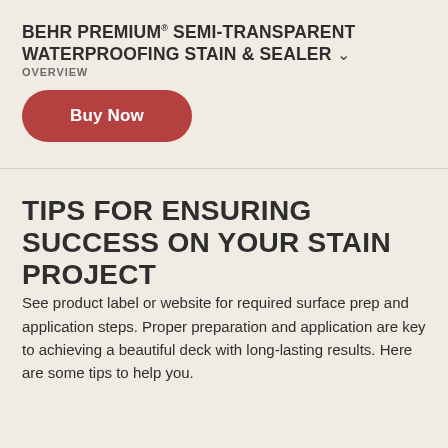BEHR PREMIUM® SEMI-TRANSPARENT WATERPROOFING STAIN & SEALER ˅
OVERVIEW
[Figure (other): Red pill-shaped Buy Now button]
TIPS FOR ENSURING SUCCESS ON YOUR STAIN PROJECT
See product label or website for required surface prep and application steps. Proper preparation and application are key to achieving a beautiful deck with long-lasting results. Here are some tips to help you.